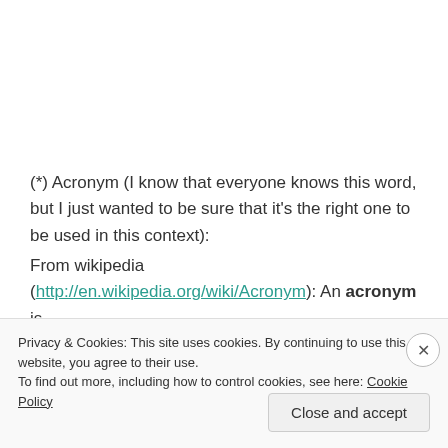(*) Acronym (I know that everyone knows this word, but I just wanted to be sure that it's the right one to be used in this context):
From wikipedia
(http://en.wikipedia.org/wiki/Acronym): An acronym is an abbreviation formed from the initial components in a
Privacy & Cookies: This site uses cookies. By continuing to use this website, you agree to their use.
To find out more, including how to control cookies, see here: Cookie Policy
Close and accept